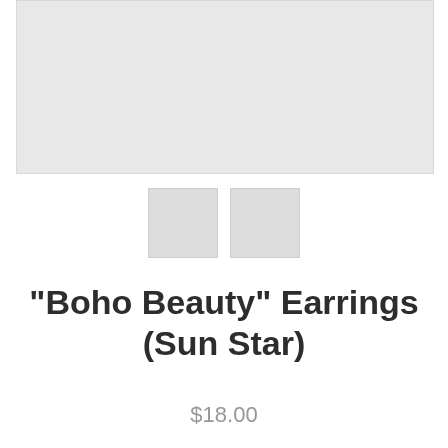[Figure (photo): Main product image placeholder — large light gray rectangle]
[Figure (photo): Two small thumbnail image placeholders side by side, both light gray squares]
"Boho Beauty" Earrings (Sun Star)
$18.00